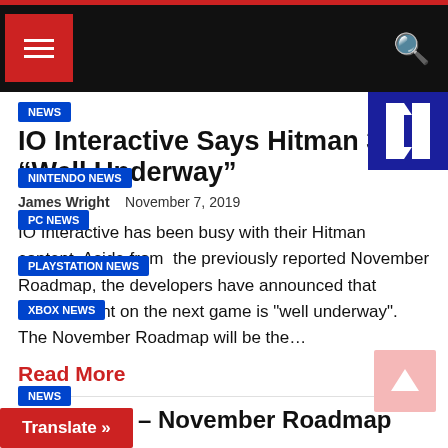Navigation header with hamburger menu and search icon
NEWS
IO Interactive Says Hitman 3 is “Well Underway”
NINTENDO NEWS
PC NEWS
James Wright  November 7, 2019
PLAYSTATION NEWS
XBOX NEWS
IO Interactive has been busy with their Hitman content. Aside from the previously reported November Roadmap, the developers have announced that development on the next game is "well underway". The November Roadmap will be the…
Read More
NEWS
HITMAN 2 – November Roadmap
November 6, 2019